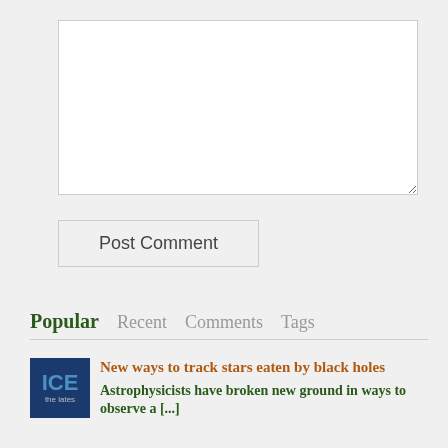[Figure (screenshot): A comment text area input box, empty, with white background and gray border]
Post Comment
Popular   Recent   Comments   Tags
[Figure (photo): Small thumbnail image with ICE text partially visible, dark blue background, with 'the lates' text below]
New ways to track stars eaten by black holes
Astrophysicists have broken new ground in ways to observe a [...]